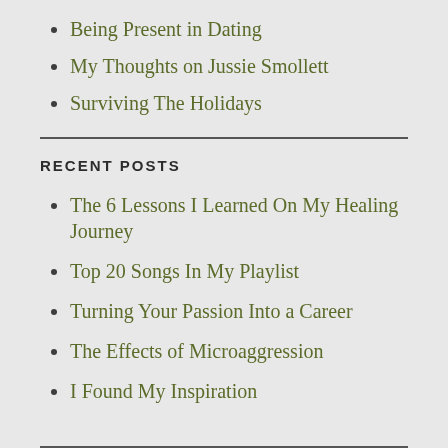Being Present in Dating
My Thoughts on Jussie Smollett
Surviving The Holidays
RECENT POSTS
The 6 Lessons I Learned On My Healing Journey
Top 20 Songs In My Playlist
Turning Your Passion Into a Career
The Effects of Microaggression
I Found My Inspiration